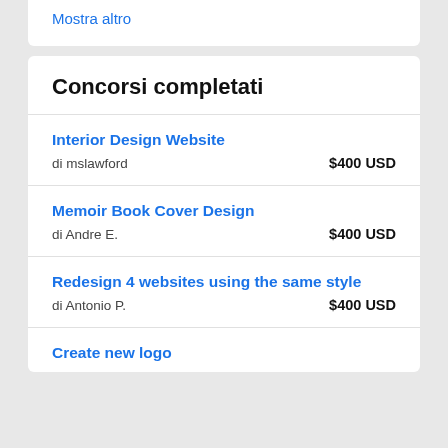Mostra altro
Concorsi completati
Interior Design Website — di mslawford — $400 USD
Memoir Book Cover Design — di Andre E. — $400 USD
Redesign 4 websites using the same style — di Antonio P. — $400 USD
Create new logo